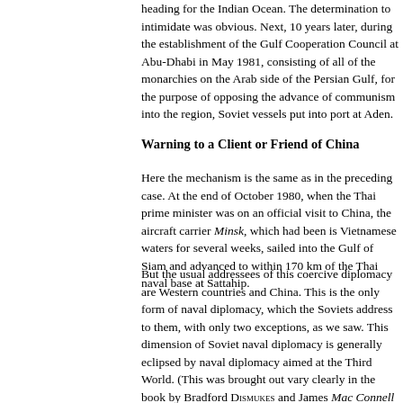heading for the Indian Ocean. The determination to intimidate was obvious. Next, 10 years later, during the establishment of the Gulf Cooperation Council at Abu-Dhabi in May 1981, consisting of all of the monarchies on the Arab side of the Persian Gulf, for the purpose of opposing the advance of communism into the region, Soviet vessels put into port at Aden.
Warning to a Client or Friend of China
Here the mechanism is the same as in the preceding case. At the end of October 1980, when the Thai prime minister was on an official visit to China, the aircraft carrier Minsk, which had been is Vietnamese waters for several weeks, sailed into the Gulf of Siam and advanced to within 170 km of the Thai naval base at Sattahip.
But the usual addressees of this coercive diplomacy are Western countries and China. This is the only form of naval diplomacy, which the Soviets address to them, with only two exceptions, as we saw. This dimension of Soviet naval diplomacy is generally eclipsed by naval diplomacy aimed at the Third World. (This was brought out vary clearly in the book by Bradford Dismukes and James Mac Connell